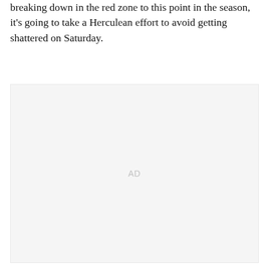breaking down in the red zone to this point in the season, it's going to take a Herculean effort to avoid getting shattered on Saturday.
[Figure (other): Advertisement placeholder box with 'AD' text centered inside a light gray rectangle]